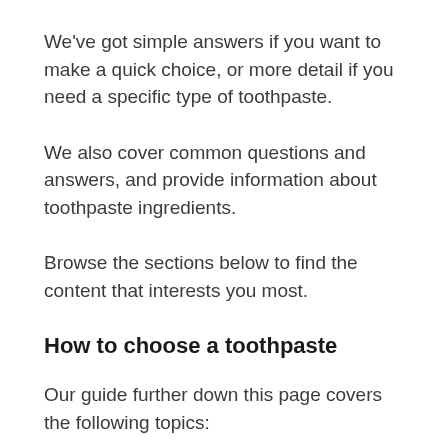We've got simple answers if you want to make a quick choice, or more detail if you need a specific type of toothpaste.
We also cover common questions and answers, and provide information about toothpaste ingredients.
Browse the sections below to find the content that interests you most.
How to choose a toothpaste
Our guide further down this page covers the following topics: